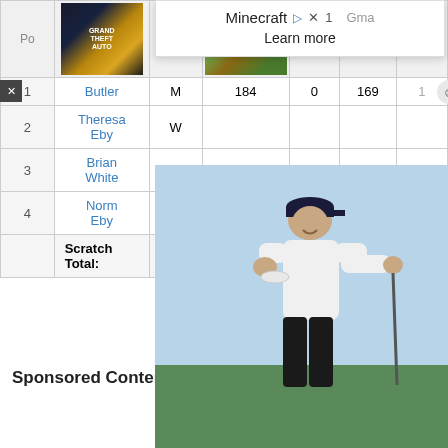| # | Name | Gender | ... | ... | ... | ... |
| --- | --- | --- | --- | --- | --- | --- |
| 1 | Butler | M | 184 | 0 | 169 | ... |
| 2 | Theresa Eby | W |  |  |  |  |
| 3 | Brian White | M |  |  |  |  |
| 4 | Norm Eby | M | 212 | 0 | 155 | 227 |
|  | Scratch Total: |  |  |  | 664 | 748 |
[Figure (screenshot): Advertisement overlay showing GTA and Minecraft game images with 'Minecraft Learn more' text]
[Figure (photo): Photo of a golfer in white shirt and black cap holding a disc, standing on a golf course]
Sponsored Content
[Figure (logo): Outbrain logo]